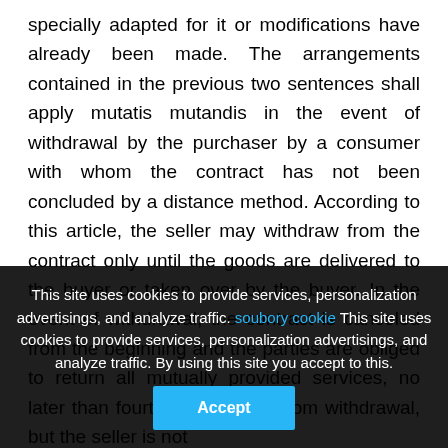specially adapted for it or modifications have already been made. The arrangements contained in the previous two sentences shall apply mutatis mutandis in the event of withdrawal by the purchaser by a consumer with whom the contract has not been concluded by a distance method. According to this article, the seller may withdraw from the contract only until the goods are delivered to the buyer or taken over by the buyer. In the event of withdrawal, the contract is canceled from the beginning and the parties are obliged to return all mutually provided services, no later than fourteen (14) days from withdrawal, but the seller is not
This site uses cookies to provide services, personalization advertisings, and analyze traffic. soubory cookie This site uses cookies to provide services, personalization advertisings, and analyze traffic. By using this site you accept to this.